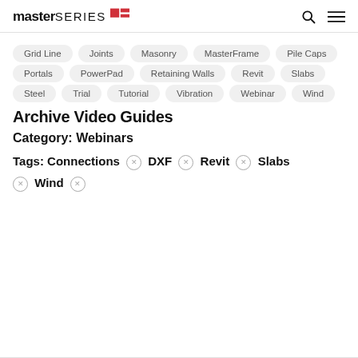masterSERIES
Grid Line
Joints
Masonry
MasterFrame
Pile Caps
Portals
PowerPad
Retaining Walls
Revit
Slabs
Steel
Trial
Tutorial
Vibration
Webinar
Wind
Archive Video Guides
Category: Webinars
Tags: Connections ⓧ DXF ⓧ Revit ⓧ Slabs ⓧ Wind ⓧ